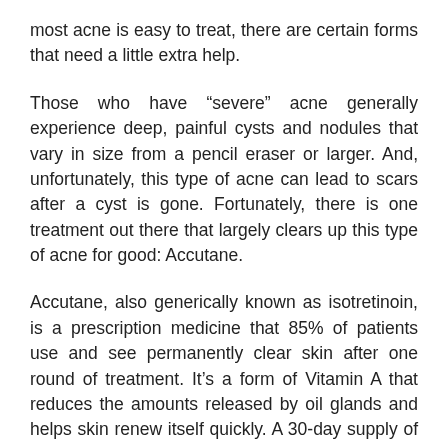most acne is easy to treat, there are certain forms that need a little extra help.
Those who have “severe” acne generally experience deep, painful cysts and nodules that vary in size from a pencil eraser or larger. And, unfortunately, this type of acne can lead to scars after a cyst is gone. Fortunately, there is one treatment out there that largely clears up this type of acne for good: Accutane.
Accutane, also generically known as isotretinoin, is a prescription medicine that 85% of patients use and see permanently clear skin after one round of treatment. It’s a form of Vitamin A that reduces the amounts released by oil glands and helps skin renew itself quickly. A 30-day supply of Accutane is given at